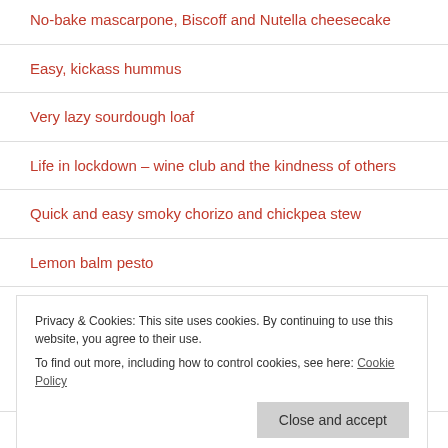No-bake mascarpone, Biscoff and Nutella cheesecake
Easy, kickass hummus
Very lazy sourdough loaf
Life in lockdown – wine club and the kindness of others
Quick and easy smoky chorizo and chickpea stew
Lemon balm pesto
Lockdown
Privacy & Cookies: This site uses cookies. By continuing to use this website, you agree to their use.
To find out more, including how to control cookies, see here: Cookie Policy
Pan fried sea bass with smoked bacon, cockles and veg